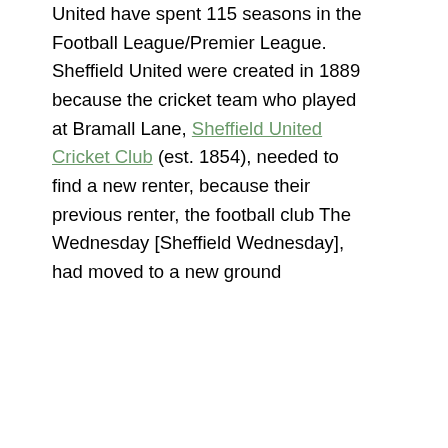United have spent 115 seasons in the Football League/Premier League. Sheffield United were created in 1889 because the cricket team who played at Bramall Lane, Sheffield United Cricket Club (est. 1854), needed to find a new renter, because their previous renter, the football club The Wednesday [Sheffield Wednesday], had moved to a new ground